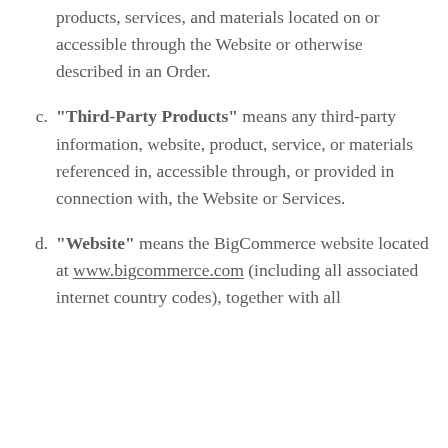products, services, and materials located on or accessible through the Website or otherwise described in an Order.
"Third-Party Products" means any third-party information, website, product, service, or materials referenced in, accessible through, or provided in connection with, the Website or Services.
"Website" means the BigCommerce website located at www.bigcommerce.com (including all associated internet country codes), together with all